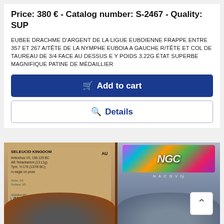Price: 380 € - Catalog number: S-2467 - Quality: SUP
EUBEE DRACHME D'ARGENT DE LA LIGUE EUBOIENNE FRAPPE ENTRE 357 ET 267 A/TÊTE DE LA NYMPHE EUBOIA A GAUCHE R/TÊTE ET COL DE TAUREAU DE 3/4 FACE AU DESSUS E Y POIDS 3.22g ÉTAT SUPERBE MAGNIFIQUE PATINE DE MÉDAILLIER
[Figure (screenshot): Add to cart button (blue background with cart icon)]
[Figure (screenshot): Details button (white background with search icon, blue border)]
[Figure (photo): Photo of ancient coin in NGC graded holders - left shows SELEUCID KINGDOM Antiochus VII 138-129 BC AR Tetradrachm 13.11g Tyre Yr.176 137/6 BC rv eagle on prow, graded AU Strike 4/5 Surface 3/5. Right shows NGC hologram label.]